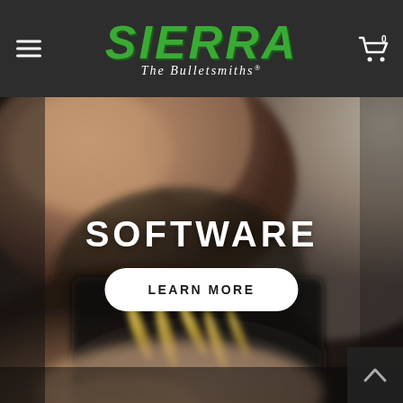Sierra Bullets - The Bulletsmiths
[Figure (logo): Sierra Bullets logo with green italic text 'Sierra' and tagline 'The Bulletsmiths' in white italic below]
[Figure (photo): Close-up blurred photo of hands holding bullets/cartridges near a magazine, dark moody background]
SOFTWARE
LEARN MORE